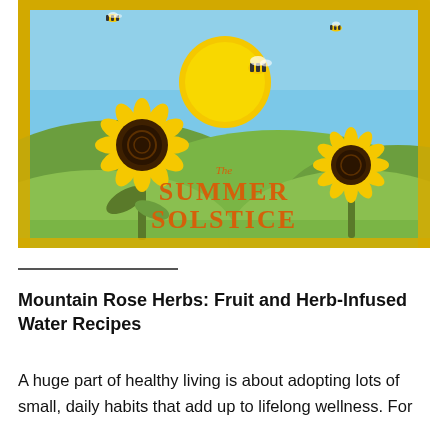[Figure (illustration): Illustration of a summer solstice scene with sunflowers in the foreground, rolling green hills, a large yellow sun with pointed rays rising in the background, and bees flying around. Text overlay reads 'The SUMMER SOLSTICE' in orange lettering. The image is bordered by a gold glitter frame.]
Mountain Rose Herbs: Fruit and Herb-Infused Water Recipes
A huge part of healthy living is about adopting lots of small, daily habits that add up to lifelong wellness. For